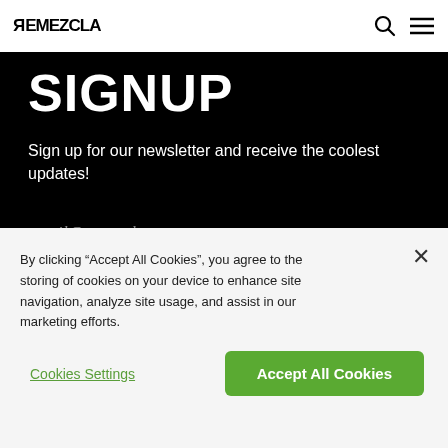REMEZCLA
SIGNUP
Sign up for our newsletter and receive the coolest updates!
email@example.com
Email
By clicking “Accept All Cookies”, you agree to the storing of cookies on your device to enhance site navigation, analyze site usage, and assist in our marketing efforts.
Cookies Settings
Accept All Cookies